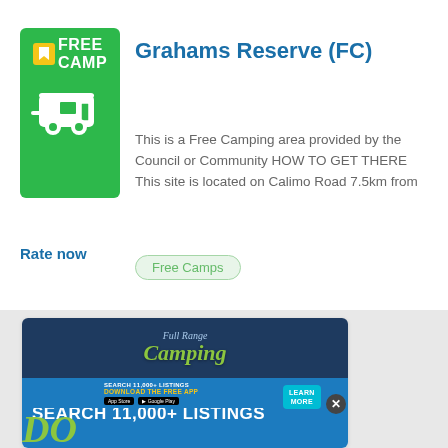Free Camps
[Figure (logo): Green Free Camp badge with bookmark icon and caravan/trailer illustration]
Grahams Reserve (FC)
This is a Free Camping area provided by the Council or Community HOW TO GET THERE This site is located on Calimo Road 7.5km from
Rate now
Free Camps
[Figure (infographic): Full Range Camping advertisement banner showing 'SEARCH 11,000+ LISTINGS' with app download buttons and Learn More button]